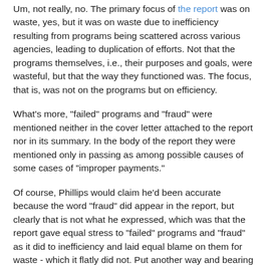Um, not really, no. The primary focus of the report was on waste, yes, but it was on waste due to inefficiency resulting from programs being scattered across various agencies, leading to duplication of efforts. Not that the programs themselves, i.e., their purposes and goals, were wasteful, but that the way they functioned was. The focus, that is, was not on the programs but on efficiency.
What's more, "failed" programs and "fraud" were mentioned neither in the cover letter attached to the report nor in its summary. In the body of the report they were mentioned only in passing as among possible causes of some cases of "improper payments."
Of course, Phillips would claim he'd been accurate because the word "fraud" did appear in the report, but clearly that is not what he expressed, which was that the report gave equal stress to "failed" programs and "fraud" as it did to inefficiency and laid equal blame on them for waste - which it flatly did not. Put another way and bearing in mind my definition of a lie is "a statement made with the intent to deceive," Phillips lied.